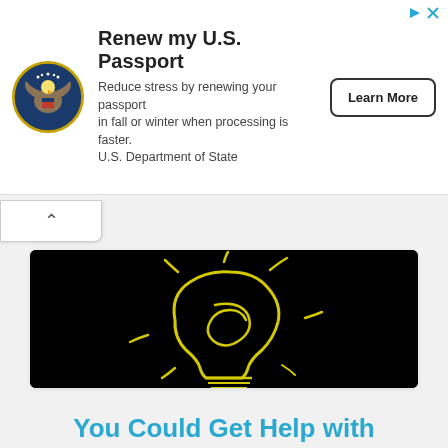[Figure (illustration): US Department of State seal / eagle logo in a blue circle]
Renew my U.S. Passport
Reduce stress by renewing your passport in fall or winter when processing is faster. U.S. Department of State
Learn More
[Figure (illustration): Black background with a hand-drawn yellow lightbulb sketch with white highlights at the base]
You Could Get Help with